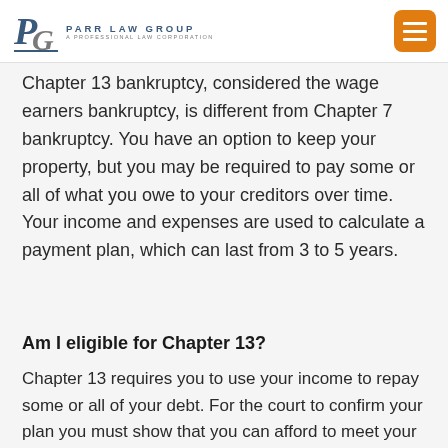PARR LAW GROUP — A PROFESSIONAL LAW CORPORATION
Chapter 13 bankruptcy, considered the wage earners bankruptcy, is different from Chapter 7 bankruptcy. You have an option to keep your property, but you may be required to pay some or all of what you owe to your creditors over time. Your income and expenses are used to calculate a payment plan, which can last from 3 to 5 years.
Am I eligible for Chapter 13?
Chapter 13 requires you to use your income to repay some or all of your debt. For the court to confirm your plan you must show that you can afford to meet your payment obligations. If your income is too low, the court might not allow you to file for Chapter 13. There are also restrictions